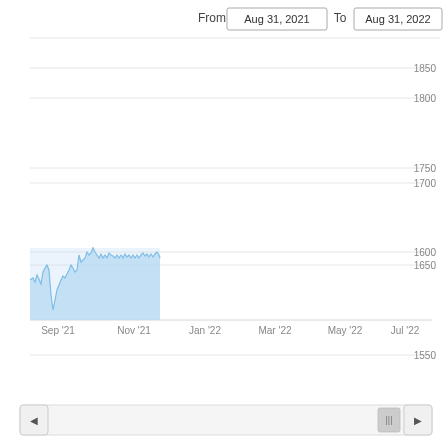[Figure (area-chart): Area chart showing stock price from Aug 31 2021 to Aug 31 2022. The chart shows activity mainly in Sep 2021 with prices ranging approximately 1540-1650, with a peak near 1650 in Oct 2021. The rest of the period from Nov 2021 to Aug 2022 shows no data plotted.]